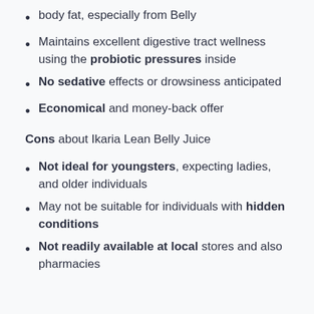body fat, especially from Belly
Maintains excellent digestive tract wellness using the probiotic pressures inside
No sedative effects or drowsiness anticipated
Economical and money-back offer
Cons about Ikaria Lean Belly Juice
Not ideal for youngsters, expecting ladies, and older individuals
May not be suitable for individuals with hidden conditions
Not readily available at local stores and also pharmacies